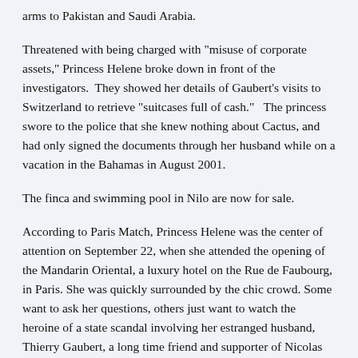arms to Pakistan and Saudi Arabia.
Threatened with being charged with "misuse of corporate assets," Princess Helene broke down in front of the investigators.  They showed her details of Gaubert's visits to Switzerland to retrieve "suitcases full of cash."   The princess swore to the police that she knew nothing about Cactus, and had only signed the documents through her husband while on a vacation in the Bahamas in August 2001.
The finca and swimming pool in Nilo are now for sale.
According to Paris Match, Princess Helene was the center of attention on September 22, when she attended the opening of the Mandarin Oriental, a luxury hotel on the Rue de Faubourg, in Paris. She was quickly surrounded by the chic crowd. Some want to ask her questions, others just want to watch the heroine of a state scandal involving her estranged husband, Thierry Gaubert, a long time friend and supporter of Nicolas Sarkozy.
She speaks about the nine hours she spent with investigators in Nanterre. She did always understand the questions, but was